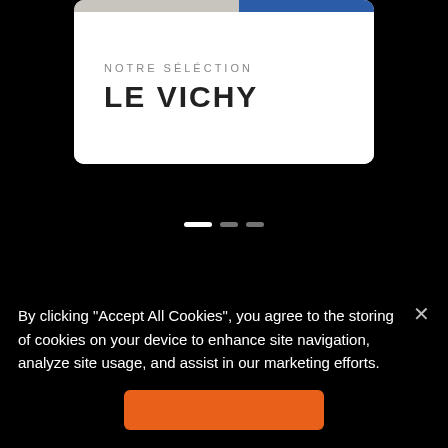[Figure (screenshot): A white card UI element with a two-tone top bar (gray left, blue right) containing text 'NOTRE SÉLÉCTION' and 'LE VICHY' in bold uppercase, displayed on a black background]
[Figure (other): Three horizontal pill/dot indicators for a carousel: one wide white active dot and two smaller dimmer dots]
By clicking "Accept All Cookies", you agree to the storing of cookies on your device to enhance site navigation, analyze site usage, and assist in our marketing efforts.
[Figure (other): Orange accept/confirm button (partially visible at bottom)]